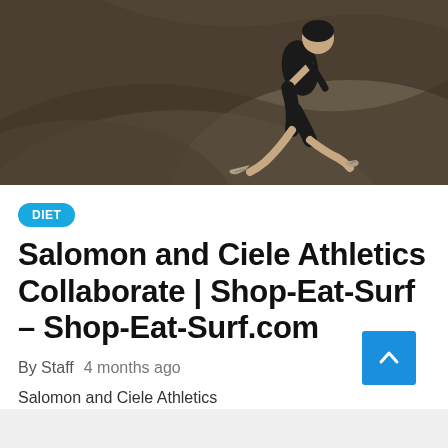[Figure (photo): A runner in dark shorts and athletic shoes running against a curved concrete/stone background, photographed from a low angle showing legs mid-stride.]
DIET
Salomon and Ciele Athletics Collaborate | Shop-Eat-Surf – Shop-Eat-Surf.com
By Staff   4 months ago
Salomon and Ciele Athletics